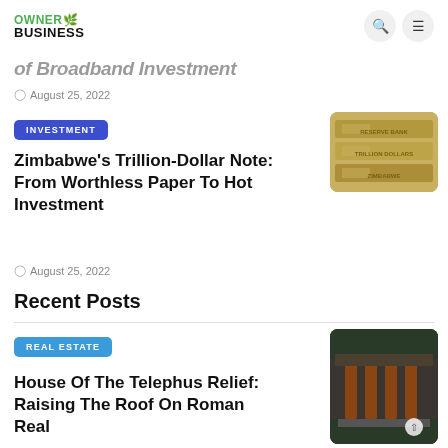OWNER BUSINESS
of Broadband Investment
August 25, 2022
INVESTMENT
[Figure (photo): Stack of Zimbabwe trillion-dollar banknotes]
Zimbabwe’s Trillion-Dollar Note: From Worthless Paper To Hot Investment
August 25, 2022
Recent Posts
REAL ESTATE
[Figure (photo): House of the Telephus Relief - Roman building with pillars]
House Of The Telephus Relief: Raising The Roof On Roman Real